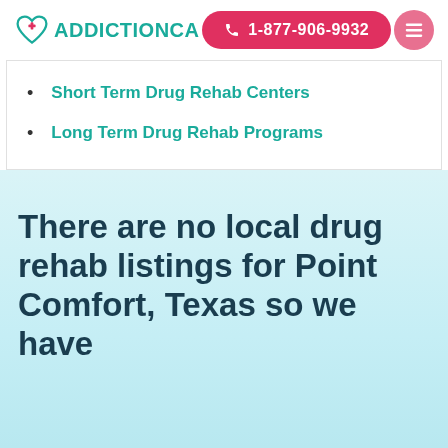ADDICTIONCA | 1-877-906-9932
Short Term Drug Rehab Centers
Long Term Drug Rehab Programs
There are no local drug rehab listings for Point Comfort, Texas so we have